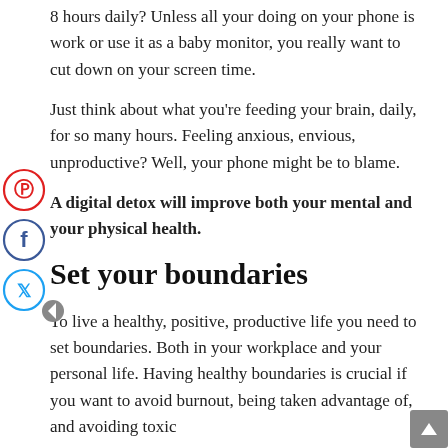8 hours daily? Unless all your doing on your phone is work or use it as a baby monitor, you really want to cut down on your screen time.
Just think about what you're feeding your brain, daily, for so many hours. Feeling anxious, envious, unproductive? Well, your phone might be to blame.
A digital detox will improve both your mental and your physical health.
Set your boundaries
To live a healthy, positive, productive life you need to set boundaries. Both in your workplace and your personal life. Having healthy boundaries is crucial if you want to avoid burnout, being taken advantage of, and avoiding toxic